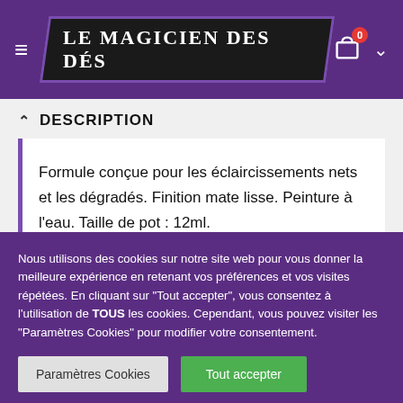LE MAGICIEN DES DÉS
DESCRIPTION
Formule conçue pour les éclaircissements nets et les dégradés. Finition mate lisse. Peinture à l'eau. Taille de pot : 12ml.
Nous utilisons des cookies sur notre site web pour vous donner la meilleure expérience en retenant vos préférences et vos visites répétées. En cliquant sur "Tout accepter", vous consentez à l'utilisation de TOUS les cookies. Cependant, vous pouvez visiter les "Paramètres Cookies" pour modifier votre consentement.
Paramètres Cookies
Tout accepter